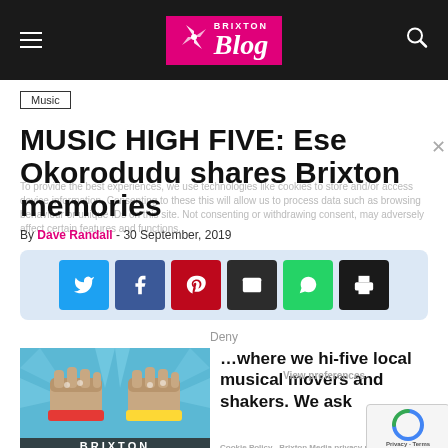Brixton Blog
Music
MUSIC HIGH FIVE: Ese Okorodudu shares Brixton memories
By Dave Randall - 30 September, 2019
[Figure (infographic): Social share buttons: Twitter, Facebook, Pinterest, Email, WhatsApp, Print on light blue background]
[Figure (illustration): Illustrated fist bump with colorful wristbands above BRIXTON text on blue background]
...where we hi-five local musical movers and shakers. We ask